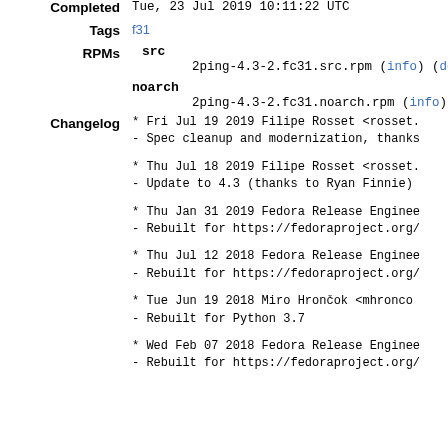Completed   Tue, 23 Jul 2019 10:11:22 UTC
Tags   f31
RPMs   src
2ping-4.3-2.fc31.src.rpm (info) (download)
noarch
2ping-4.3-2.fc31.noarch.rpm (info) (download)
Changelog
* Fri Jul 19 2019 Filipe Rosset <rosset.
- Spec cleanup and modernization, thanks
* Thu Jul 18 2019 Filipe Rosset <rosset.
- Update to 4.3 (thanks to Ryan Finnie)
* Thu Jan 31 2019 Fedora Release Enginee
- Rebuilt for https://fedoraproject.org/
* Thu Jul 12 2018 Fedora Release Enginee
- Rebuilt for https://fedoraproject.org/
* Tue Jun 19 2018 Miro Hrončok <mhronco
- Rebuilt for Python 3.7
* Wed Feb 07 2018 Fedora Release Enginee
- Rebuilt for https://fedoraproject.org/